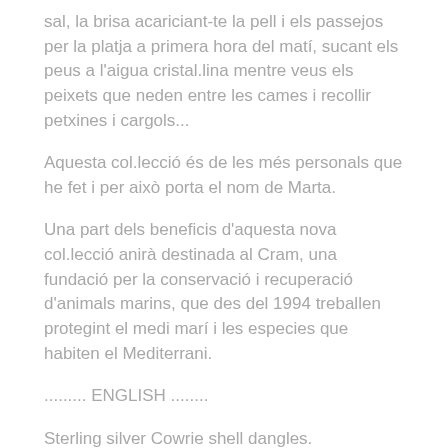sal, la brisa acariciant-te la pell i els passejos per la platja a primera hora del matí, sucant els peus a l'aigua cristal.lina mentre veus els peixets que neden entre les cames i recollir petxines i cargols...
Aquesta col.lecció és de les més personals que he fet i per això porta el nom de Marta.
Una part dels beneficis d'aquesta nova col.lecció anirà destinada al Cram, una fundació per la conservació i recuperació d'animals marins, que des del 1994 treballen protegint el medi marí i les especies que habiten el Mediterrani.
......... ENGLISH ........
Sterling silver Cowrie shell dangles.
From Marta Collection.
These pieces are a one-of-a-kind handmade earrings.